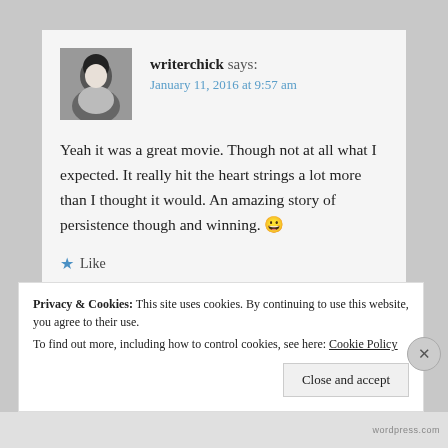writerchick says:
January 11, 2016 at 9:57 am
Yeah it was a great movie. Though not at all what I expected. It really hit the heart strings a lot more than I thought it would. An amazing story of persistence though and winning. 😀
★ Like
REPLY
Privacy & Cookies: This site uses cookies. By continuing to use this website, you agree to their use.
To find out more, including how to control cookies, see here: Cookie Policy
Close and accept